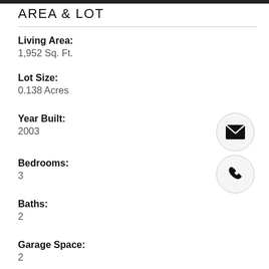AREA & LOT
Living Area:
1,952 Sq. Ft.
Lot Size:
0.138 Acres
Year Built:
2003
Bedrooms:
3
Baths:
2
Garage Space:
2
[Figure (illustration): Email icon inside a circle]
[Figure (illustration): Phone icon inside a circle]